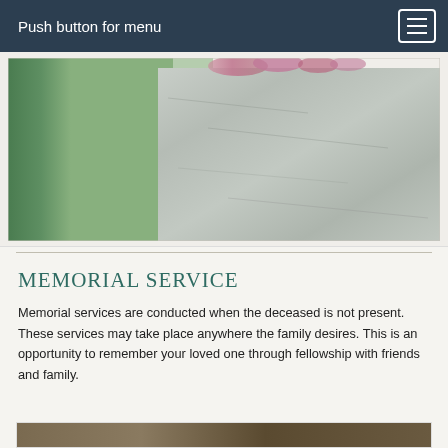Push button for menu
[Figure (photo): Close-up photograph of a granite gravestone with pink flowers on top, green foliage in the background]
MEMORIAL SERVICE
Memorial services are conducted when the deceased is not present. These services may take place anywhere the family desires. This is an opportunity to remember your loved one through fellowship with friends and family.
[Figure (photo): Partial view of a second photograph at the bottom of the page, showing a warm-toned indoor or outdoor scene]